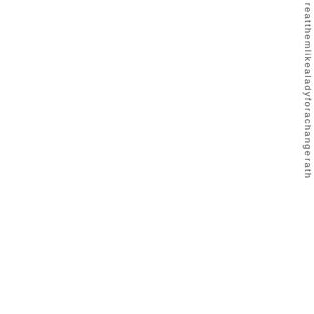reatthemlikealadyforachangerath